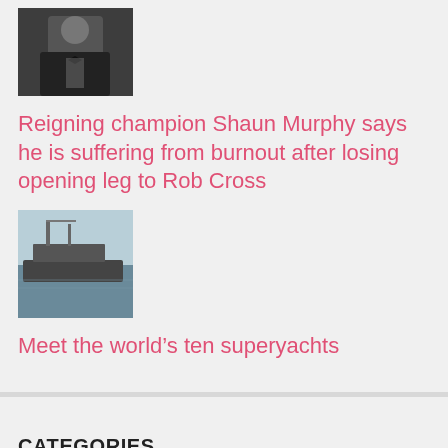[Figure (photo): Thumbnail photo of snooker player Shaun Murphy in formal attire with bow tie]
Reigning champion Shaun Murphy says he is suffering from burnout after losing opening leg to Rob Cross
[Figure (photo): Thumbnail photo of a large superyacht on the water]
Meet the world’s ten superyachts
CATEGORIES
asia
entertainment
europe